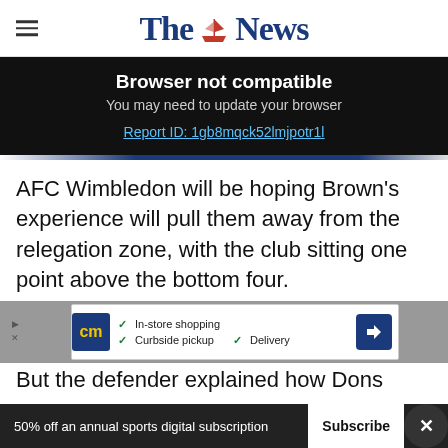The News
Browser not compatible
You may need to update your browser
Report ID: 1gb8mqck52lmjpotr1l
AFC Wimbledon will be hoping Brown's experience will pull them away from the relegation zone, with the club sitting one point above the bottom four.
[Figure (other): Advertisement banner with cm logo, checkmarks for In-store shopping, Curbside pickup, Delivery, and a blue navigation arrow icon]
But the defender explained how Dons boss M...
50% off an annual sports digital subscription  Subscribe  ✕